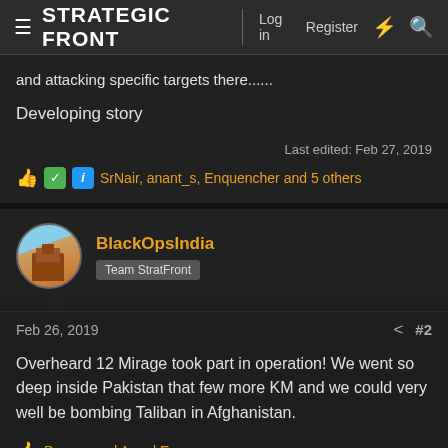STRATEGIC FRONT | Log in  Register
and attacking specific targets there......
Developing story
Last edited: Feb 27, 2019
👍 ✅ ℹ SrNair, anant_s, Enquencher and 5 others
BlackOpsIndia
Team StratFront
Feb 26, 2019  #2
Overheard 12 Mirage took part in operation! We went so deep inside Pakistan that few more KM and we could very well be bombing Taliban in Afghanistan.
👍 Dagger and Angel Eyes